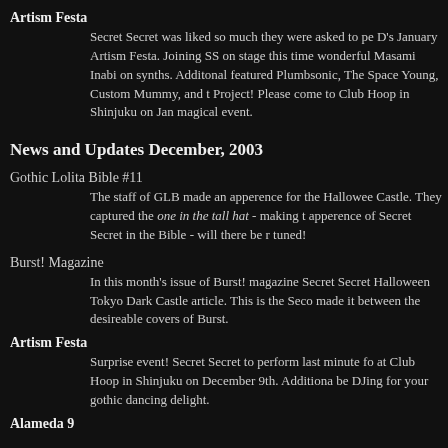Artism Festa
Secret Secret was liked so much they were asked to pe D's January Artism Festa. Joining SS on stage this time wonderful Masami Inabi on synths. Additonal featured Plumbsonic, The Space Young, Custom Mummy, and t Project! Please come to Club Hoop in Shinjuku on Jan magical event.
News and Updates December, 2003
Gothic Lolita Bible #11
The staff of GLB made an apperence for the Hallowee Castle. They captured the one in the tall hat - making t apperence of Secret Secret in the Bible - will there be r tuned!
Burst! Magazine
In this month's issue of Burst! magazine Secret Secret Halloween Tokyo Dark Castle article. This is the Seco made it between the desireable covers of Burst.
Artism Festa
Surprise event! Secret Secret to perform last minute fo at Club Hoop in Shinjuku on December 9th. Additiona be DJing for your gothic dancing delight.
Alameda 9